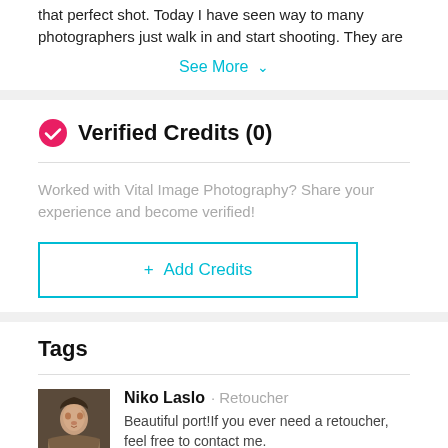that perfect shot. Today I have seen way to many photographers just walk in and start shooting. They are
See More ∨
✓ Verified Credits (0)
Worked with Vital Image Photography? Share your experience and become verified!
+ Add Credits
Tags
Niko Laslo · Retoucher
Beautiful port!If you ever need a retoucher, feel free to contact me.